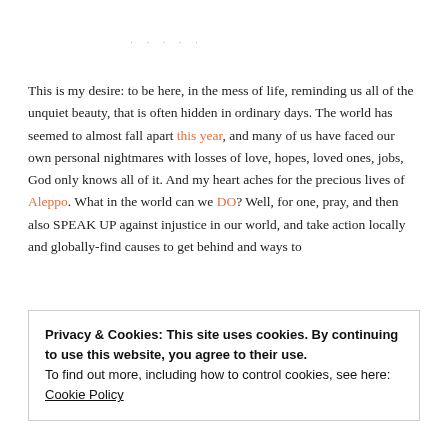· · · · ·
This is my desire: to be here, in the mess of life, reminding us all of the unquiet beauty, that is often hidden in ordinary days. The world has seemed to almost fall apart this year, and many of us have faced our own personal nightmares with losses of love, hopes, loved ones, jobs, God only knows all of it. And my heart aches for the precious lives of Aleppo. What in the world can we DO? Well, for one, pray, and then also SPEAK UP against injustice in our world, and take action locally and globally-find causes to get behind and ways to
Privacy & Cookies: This site uses cookies. By continuing to use this website, you agree to their use.
To find out more, including how to control cookies, see here: Cookie Policy
Close and accept